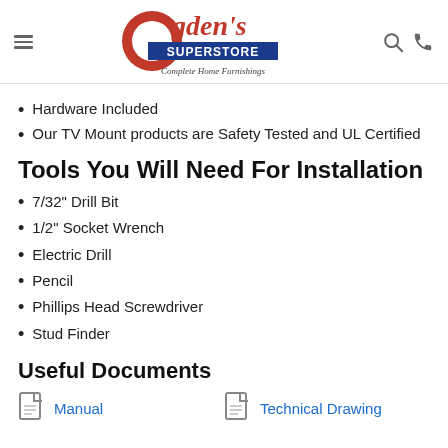Ogden's Superstore - Complete Home Furnishings
Hardware Included
Our TV Mount products are Safety Tested and UL Certified
Tools You Will Need For Installation
7/32" Drill Bit
1/2" Socket Wrench
Electric Drill
Pencil
Phillips Head Screwdriver
Stud Finder
Useful Documents
Manual | Technical Drawing